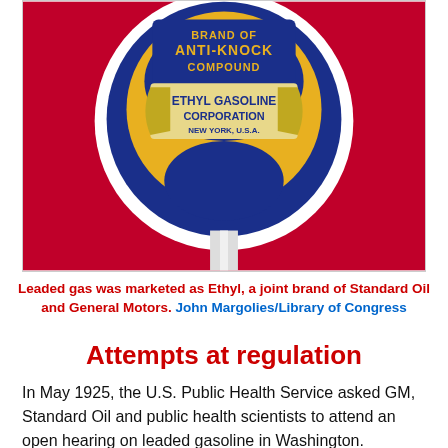[Figure (photo): Close-up photo of a circular Ethyl gasoline pump sign with text 'BRAND OF ANTI-KNOCK COMPOUND' and 'ETHYL GASOLINE CORPORATION NEW YORK, U.S.A.' on a red background]
Leaded gas was marketed as Ethyl, a joint brand of Standard Oil and General Motors. John Margolies/Library of Congress
Attempts at regulation
In May 1925, the U.S. Public Health Service asked GM, Standard Oil and public health scientists to attend an open hearing on leaded gasoline in Washington.
The issue, according to GM and Standard, involved refinery safety, not public health. Frank Howard of Standard Oil argued that tetraethyl lead was diluted at over 1,000 to 1 in